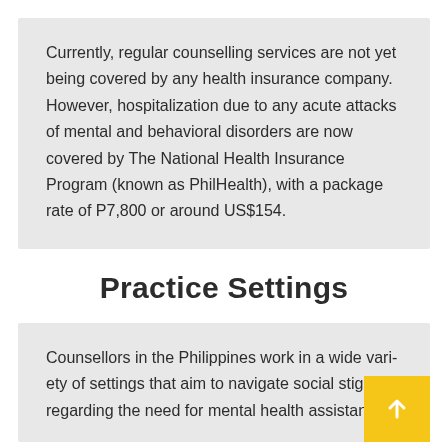Currently, regular counselling services are not yet being covered by any health insurance company. However, hospitalization due to any acute attacks of mental and behavioral disorders are now covered by The National Health Insurance Program (known as PhilHealth), with a package rate of P7,800 or around US$154.
Practice Settings
Counsellors in the Philippines work in a wide variety of settings that aim to navigate social stigmas regarding the need for mental health assistance